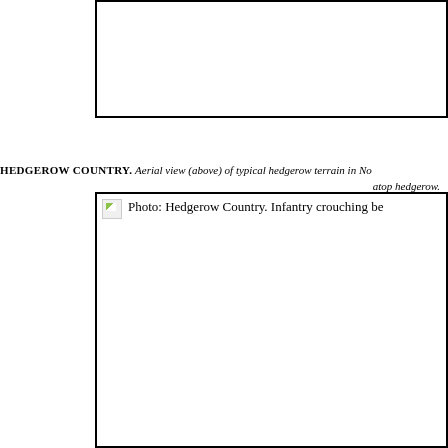[Figure (photo): Top portion of aerial photo of hedgerow terrain in Normandy — image is cropped, showing only the bordered box area]
HEDGEROW COUNTRY. Aerial view (above) of typical hedgerow terrain in Normandy. Infantry crouching atop hedgerow.
[Figure (photo): Photo: Hedgerow Country. Infantry crouching behind hedgerow — image placeholder shown with broken image icon and label text]